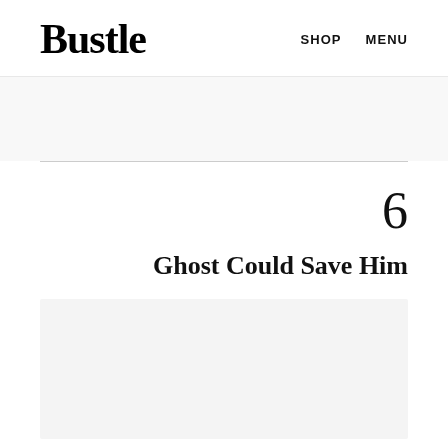Bustle  SHOP  MENU
[Figure (other): Advertisement banner area, light gray background]
6
Ghost Could Save Him
[Figure (photo): Image placeholder, light gray background]